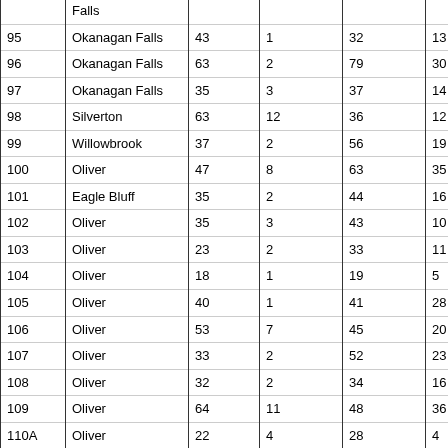|  | Falls |  |  |  |  |
| 95 | Okanagan Falls | 43 | 1 | 32 | 13 |
| 96 | Okanagan Falls | 63 | 2 | 79 | 30 |
| 97 | Okanagan Falls | 35 | 3 | 37 | 14 |
| 98 | Silverton | 63 | 12 | 36 | 12 |
| 99 | Willowbrook | 37 | 2 | 56 | 19 |
| 100 | Oliver | 47 | 8 | 63 | 35 |
| 101 | Eagle Bluff | 35 | 2 | 44 | 16 |
| 102 | Oliver | 35 | 3 | 43 | 10 |
| 103 | Oliver | 23 | 2 | 33 | 11 |
| 104 | Oliver | 18 | 1 | 19 | 5 |
| 105 | Oliver | 40 | 1 | 41 | 28 |
| 106 | Oliver | 53 | 7 | 45 | 20 |
| 107 | Oliver | 33 | 2 | 52 | 23 |
| 108 | Oliver | 32 | 2 | 34 | 16 |
| 109 | Oliver | 64 | 11 | 48 | 36 |
| 110A | Oliver | 22 | 4 | 28 | 4 |
| 110B | Mobile poll | 7 | 1 | 7 | 10 |
| 111 | Oliver | 41 | 6 | 36 | 19 |